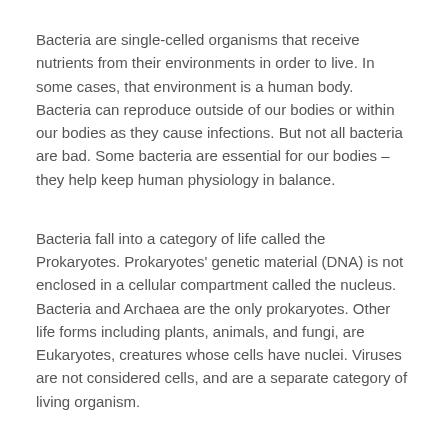Bacteria are single-celled organisms that receive nutrients from their environments in order to live. In some cases, that environment is a human body. Bacteria can reproduce outside of our bodies or within our bodies as they cause infections. But not all bacteria are bad. Some bacteria are essential for our bodies – they help keep human physiology in balance.
Bacteria fall into a category of life called the Prokaryotes. Prokaryotes' genetic material (DNA) is not enclosed in a cellular compartment called the nucleus. Bacteria and Archaea are the only prokaryotes. Other life forms including plants, animals, and fungi, are Eukaryotes, creatures whose cells have nuclei. Viruses are not considered cells, and are a separate category of living organism.